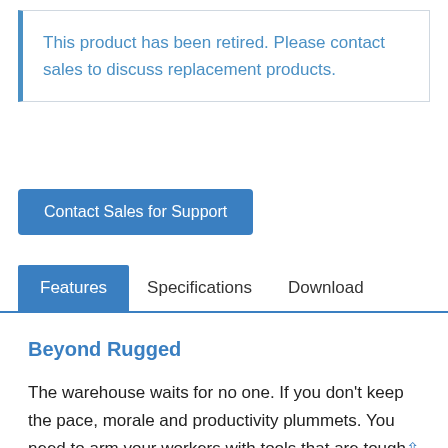This product has been retired. Please contact sales to discuss replacement products.
Contact Sales for Support
Features	Specifications	Download
Beyond Rugged
The warehouse waits for no one. If you don't keep the pace, morale and productivity plummets. You need to arm your workers with tools that are tough